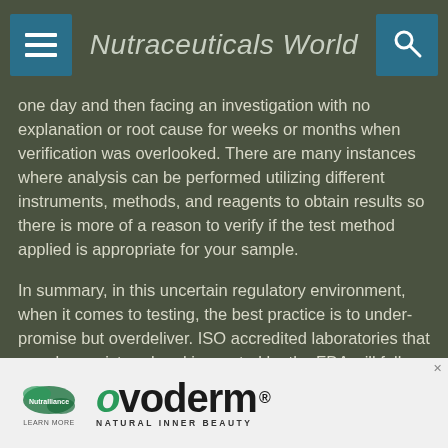Nutraceuticals World
one day and then facing an investigation with no explanation or root cause for weeks or months when verification was overlooked. There are many instances where analysis can be performed utilizing different instruments, methods, and reagents to obtain results so there is more of a reason to verify if the test method applied is appropriate for your sample.
In summary, in this uncertain regulatory environment, when it comes to testing, the best practice is to under-promise but overdeliver. ISO accredited laboratories that are also registered and inspected by the FDA will follow cGMP guidelines. It is these guidelines that will help producers manufacture safe and effective CBD/cannabis products.
[Figure (other): Advertisement banner for Nutralliance featuring ovoderm product with text 'NATURAL INNER BEAUTY' and a learn more button]